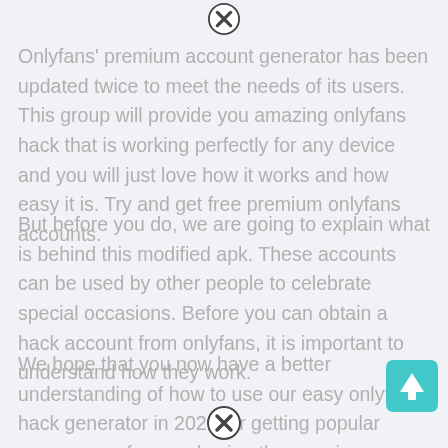[Figure (other): Close/dismiss button (circle with X) at top center]
Onlyfans' premium account generator has been updated twice to meet the needs of its users. This group will provide you amazing onlyfans hack that is working perfectly for any device and you will just love how it works and how easy it is. Try and get free premium onlyfans accounts.
But before you do, we are going to explain what is behind this modified apk. These accounts can be used by other people to celebrate special occasions. Before you can obtain a hack account from onlyfans, it is important to understand how they work.
We hope that you now have a better understanding of how to use our easy onlyfans hack generator in 2021 for getting popular among your fans and using the premium
[Figure (other): Up arrow button (teal/cyan square with upward arrow) at bottom right]
[Figure (other): Close/dismiss button (circle with X) at bottom center]